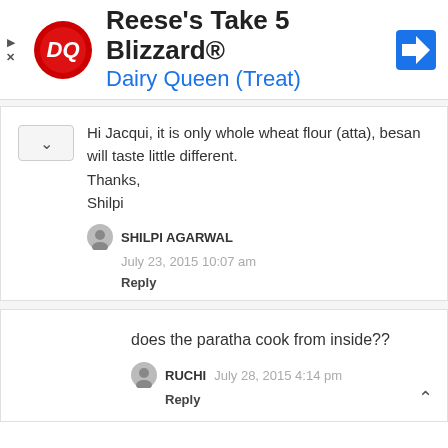[Figure (infographic): Dairy Queen advertisement banner for Reese's Take 5 Blizzard with DQ logo and navigation icon]
Hi Jacqui, it is only whole wheat flour (atta), besan will taste little different.
Thanks,
Shilpi
SHILPI AGARWAL
July 23, 2015 10:07 am
Reply
does the paratha cook from inside??
RUCHI
July 28, 2015 4:14 pm
Reply